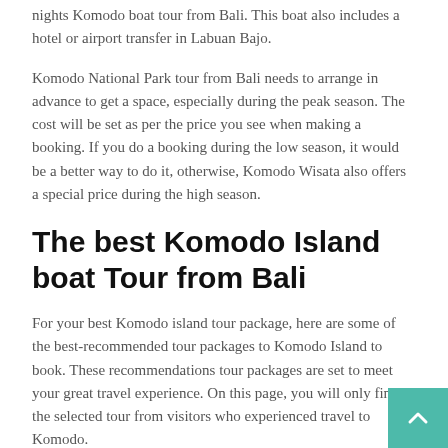nights Komodo boat tour from Bali. This boat also includes a hotel or airport transfer in Labuan Bajo.
Komodo National Park tour from Bali needs to arrange in advance to get a space, especially during the peak season. The cost will be set as per the price you see when making a booking. If you do a booking during the low season, it would be a better way to do it, otherwise, Komodo Wisata also offers a special price during the high season.
The best Komodo Island boat Tour from Bali
For your best Komodo island tour package, here are some of the best-recommended tour packages to Komodo Island to book. These recommendations tour packages are set to meet your great travel experience. On this page, you will only find the selected tour from visitors who experienced travel to Komodo.